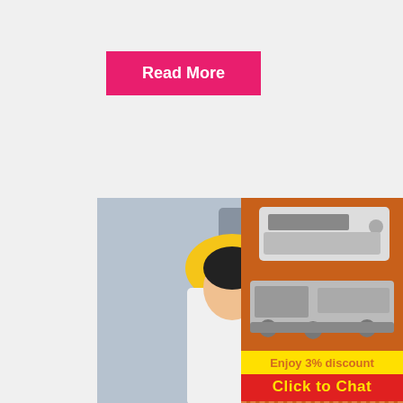[Figure (illustration): Pink 'Read More' button at top]
[Figure (screenshot): Industrial workers with hard hats in factory setting, overlaid with a Live Chat popup showing 'LIVE CHAT', 'Click for a Free Consultation', 'Chat now' and 'Chat later' buttons]
Ton Hours ...
[Figure (infographic): Orange right-side advertisement panel with mining/crushing machinery images, 'Enjoy 3% discount', 'Click to Chat', 'Enquiry', and 'limingjlmofen@sina.com']
Mobile Crusher. These two kinds of have
[Figure (illustration): Pink 'Read More' button at bottom]